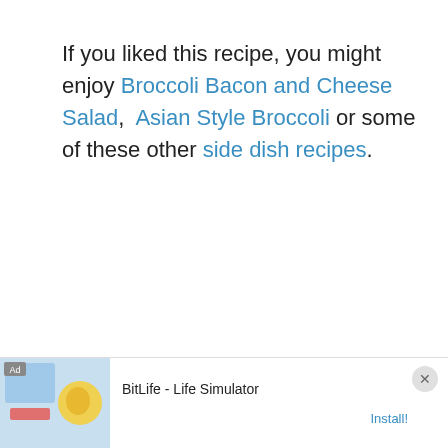If you liked this recipe, you might enjoy Broccoli Bacon and Cheese Salad,  Asian Style Broccoli or some of these other side dish recipes.
[Figure (other): 207 likes count with heart icon button (circular light gray) and search icon button (circular teal/blue)]
[Figure (other): Advertisement banner: BitLife - Life Simulator app ad with Install button and close (X) button]